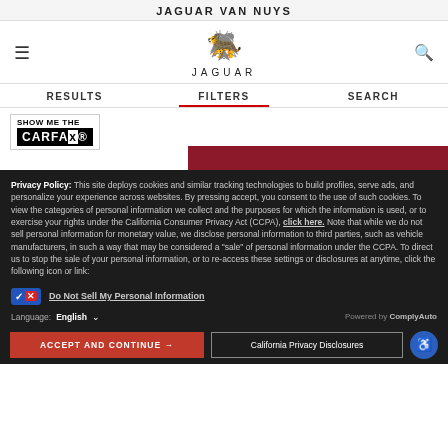JAGUAR VAN NUYS
[Figure (logo): Jaguar leaping cat logo with JAGUAR wordmark below]
RESULTS   FILTERS   SEARCH
[Figure (screenshot): Show Me The CARFAX logo and partial red banner]
Privacy Policy: This site deploys cookies and similar tracking technologies to build profiles, serve ads, and personalize your experience across websites. By pressing accept, you consent to the use of such cookies. To view the categories of personal information we collect and the purposes for which the information is used, or to exercise your rights under the California Consumer Privacy Act (CCPA), click here. Note that while we do not sell personal information for monetary value, we disclose personal information to third parties, such as vehicle manufacturers, in such a way that may be considered a "sale" of personal information under the CCPA. To direct us to stop the sale of your personal information, or to re-access these settings or disclosures at anytime, click the following icon or link:
Do Not Sell My Personal Information
Language: English
Powered by ComplyAuto
ACCEPT AND CONTINUE →
California Privacy Disclosures